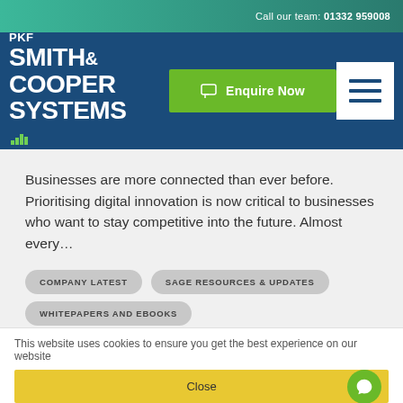Call our team: 01332 959008
[Figure (logo): PKF Smith Cooper Systems logo in white on dark blue background]
Enquire Now
Businesses are more connected than ever before. Prioritising digital innovation is now critical to businesses who want to stay competitive into the future. Almost every…
COMPANY LATEST
SAGE RESOURCES & UPDATES
WHITEPAPERS AND EBOOKS
This website uses cookies to ensure you get the best experience on our website
Close